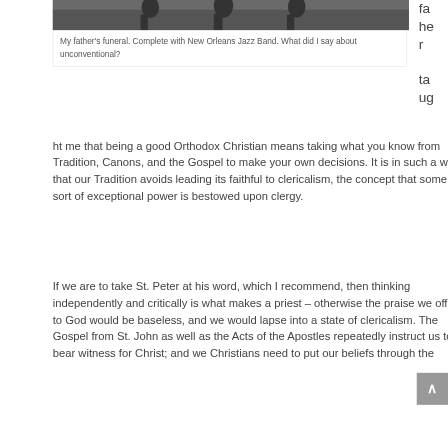[Figure (photo): A funeral procession photo, partially visible at top of page — My father's funeral with a New Orleans Jazz Band.]
My father's funeral. Complete with New Orleans Jazz Band. What did I say about unconventional?
ht me that being a good Orthodox Christian means taking what you know from Tradition, Canons, and the Gospel to make your own decisions. It is in such a way that our Tradition avoids leading its faithful to clericalism, the concept that some sort of exceptional power is bestowed upon clergy.
If we are to take St. Peter at his word, which I recommend, then thinking independently and critically is what makes a priest – otherwise the praise we offer to God would be baseless, and we would lapse into a state of clericalism. The Gospel from St. John as well as the Acts of the Apostles repeatedly instruct us to bear witness for Christ; and we Christians need to put our beliefs through the